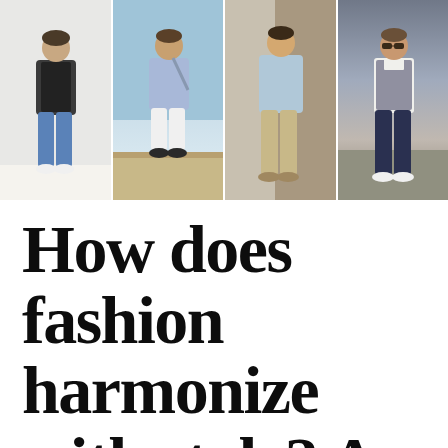[Figure (photo): Four photos of men in different fashion styles side by side: (1) man in dark jacket and jeans with white sneakers; (2) man in light blue linen shirt and white shorts with dark loafers near water; (3) man in light blue shirt and khaki trousers with loafers leaning on a post; (4) man in grey vest and navy trousers walking on a street.]
How does fashion harmonize with style? A